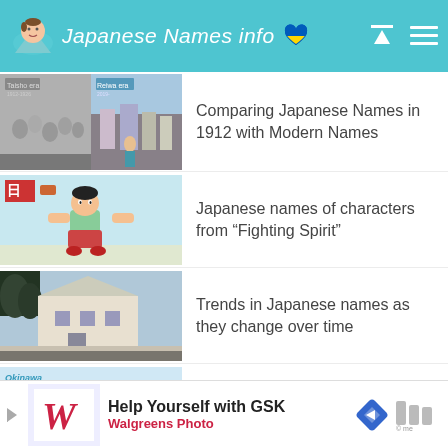Japanese Names info
Comparing Japanese Names in 1912 with Modern Names
Japanese names of characters from “Fighting Spirit”
Trends in Japanese names as they change over time
Most common Okinawa family names
Help Yourself with GSK
Walgreens Photo